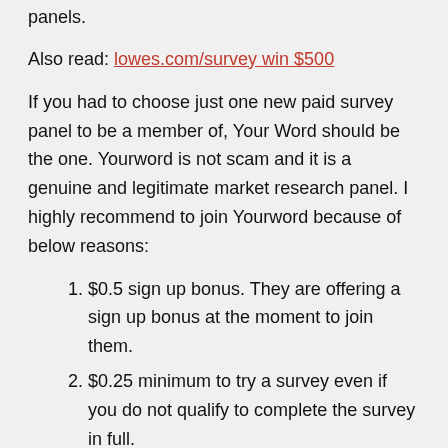panels.
Also read: lowes.com/survey win $500
If you had to choose just one new paid survey panel to be a member of, Your Word should be the one. Yourword is not scam and it is a genuine and legitimate market research panel. I highly recommend to join Yourword because of below reasons:
$0.5 sign up bonus. They are offering a sign up bonus at the moment to join them.
$0.25 minimum to try a survey even if you do not qualify to complete the survey in full.
Low $5 Payout – Just complete a few surveys to reach the minimum payout of